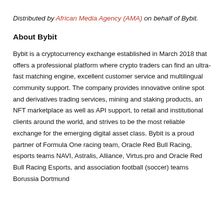Distributed by African Media Agency (AMA) on behalf of Bybit.
About Bybit
Bybit is a cryptocurrency exchange established in March 2018 that offers a professional platform where crypto traders can find an ultra-fast matching engine, excellent customer service and multilingual community support. The company provides innovative online spot and derivatives trading services, mining and staking products, an NFT marketplace as well as API support, to retail and institutional clients around the world, and strives to be the most reliable exchange for the emerging digital asset class. Bybit is a proud partner of Formula One racing team, Oracle Red Bull Racing, esports teams NAVI, Astralis, Alliance, Virtus.pro and Oracle Red Bull Racing Esports, and association football (soccer) teams Borussia Dortmund